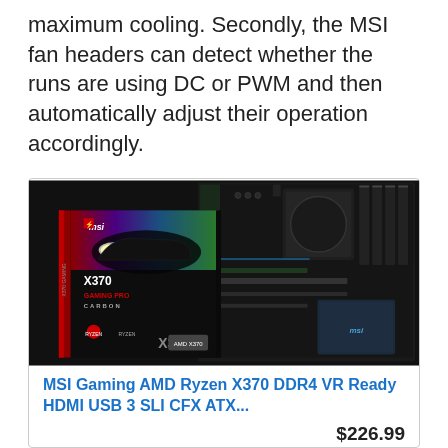maximum cooling. Secondly, the MSI fan headers can detect whether the runs are using DC or PWM and then automatically adjust their operation accordingly.
[Figure (photo): MSI X370 Gaming Pro Carbon motherboard product photo showing the motherboard itself alongside its retail box featuring a sports car design with MSI logo, X370 GAMING PRO CARBON branding, and AMD Ryzen compatibility logo]
MSI Gaming AMD Ryzen X370 DDR4 VR Ready HDMI USB 3 SLI CFX ATX...
$226.99